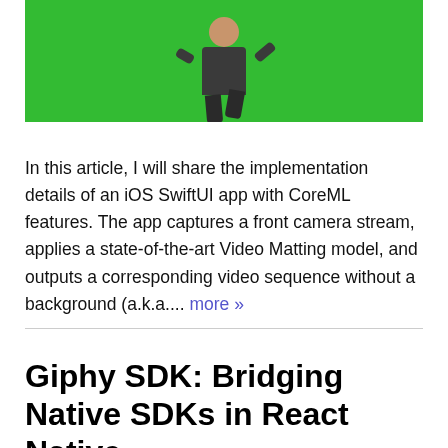[Figure (photo): A person in dark clothing walking or running against a bright green background (green screen / chroma key)]
In this article, I will share the implementation details of an iOS SwiftUI app with CoreML features. The app captures a front camera stream, applies a state-of-the-art Video Matting model, and outputs a corresponding video sequence without a background (a.k.a.... more »
Giphy SDK: Bridging Native SDKs in React Native